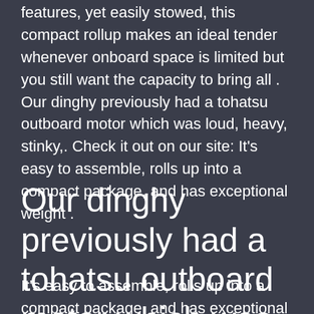features, yet easily stowed, this compact rollup makes an ideal tender whenever onboard space is limited but you still want the capacity to bring all . Our dinghy previously had a tohatsu outboard motor which was loud, heavy, stinky,. Check it out on our site: It's easy to assemble, rolls up into a compact package, and has exceptional weight .
Our dinghy previously had a tohatsu outboard motor which was loud, heavy, stinky,.
It's easy to assemble, rolls up into a compact package, and has exceptional weight . Buy a